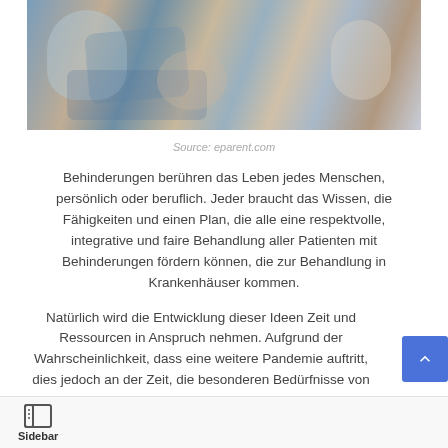[Figure (photo): Photo of a child sitting on an adult's lap, likely a medical or therapeutic setting with another person nearby]
Source: eparent.com
Behinderungen berühren das Leben jedes Menschen, persönlich oder beruflich. Jeder braucht das Wissen, die Fähigkeiten und einen Plan, die alle eine respektvolle, integrative und faire Behandlung aller Patienten mit Behinderungen fördern können, die zur Behandlung in Krankenhäuser kommen.
Natürlich wird die Entwicklung dieser Ideen Zeit und Ressourcen in Anspruch nehmen. Aufgrund der Wahrscheinlichkeit, dass eine weitere Pandemie auftritt, dies jedoch an der Zeit, die besonderen Bedürfnisse von
Sidebar